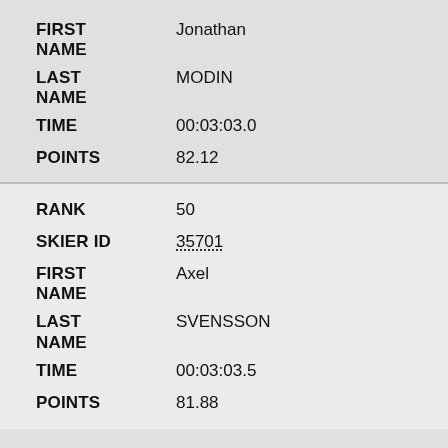| Field | Value |
| --- | --- |
| FIRST NAME | Jonathan |
| LAST NAME | MODIN |
| TIME | 00:03:03.0 |
| POINTS | 82.12 |
| Field | Value |
| --- | --- |
| RANK | 50 |
| SKIER ID | 35701 |
| FIRST NAME | Axel |
| LAST NAME | SVENSSON |
| TIME | 00:03:03.5 |
| POINTS | 81.88 |